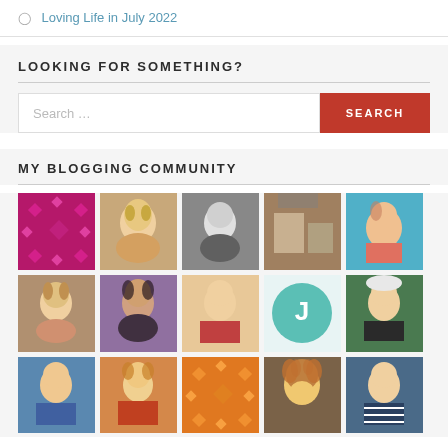Loving Life in July 2022
LOOKING FOR SOMETHING?
Search ...
MY BLOGGING COMMUNITY
[Figure (photo): Grid of blogger profile photos and avatars, 5 columns, 3+ rows visible]